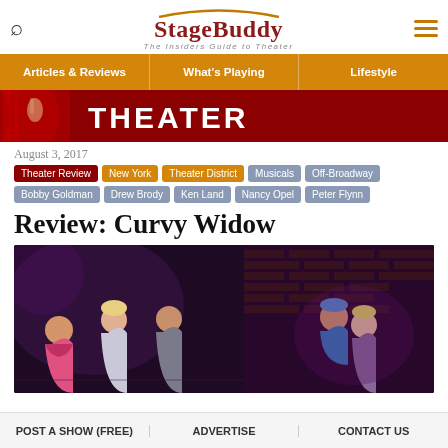StageBuddy — The Insiders Guide to Theater
Articles & Reviews | What's Playing | Lifestyle
[Figure (photo): Theater banner with red background and THEATER text in white]
August 3, 2017
Theater Review | New York | Theater District | Musicals | Off-Broadway | Bobby Goldman | Drew Brody | Ken Land | Nancy Opel | Peter Flynn
Review: Curvy Widow
[Figure (photo): Stage performance scene showing actors on stage: three women on the left side of the stage (one in pink, one in white/grey, one in grey dress), and on the right side a man in blue scrubs embracing a woman]
POST A SHOW (FREE)   ADVERTISE   CONTACT US